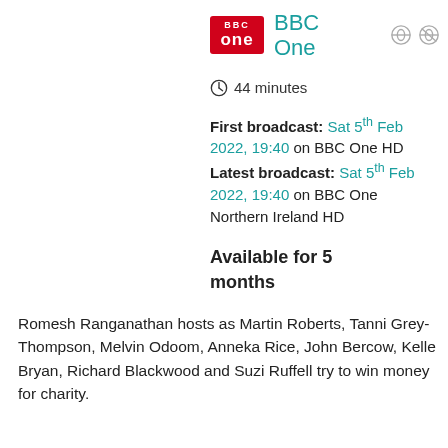[Figure (logo): BBC One logo — red square with 'bbc' text above 'one' in white on red background]
BBC One
44 minutes
First broadcast: Sat 5th Feb 2022, 19:40 on BBC One HD
Latest broadcast: Sat 5th Feb 2022, 19:40 on BBC One Northern Ireland HD
Available for 5 months
Romesh Ranganathan hosts as Martin Roberts, Tanni Grey-Thompson, Melvin Odoom, Anneka Rice, John Bercow, Kelle Bryan, Richard Blackwood and Suzi Ruffell try to win money for charity.